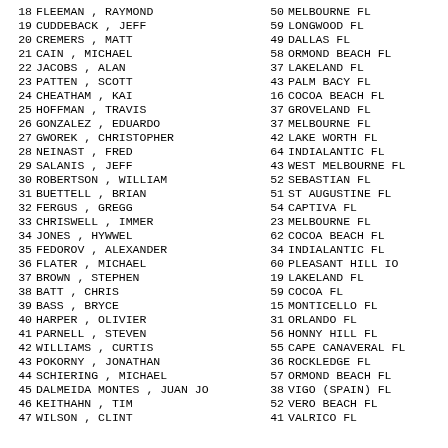| # | Name | Age | City |
| --- | --- | --- | --- |
| 18 | FLEEMAN , RAYMOND | 50 | MELBOURNE FL |
| 19 | CUDDEBACK , JEFF | 59 | LONGWOOD FL |
| 20 | CREMERS , MATT | 49 | DALLAS FL |
| 21 | CAIN , MICHAEL | 58 | ORMOND BEACH FL |
| 22 | JACOBS , ALAN | 37 | LAKELAND FL |
| 23 | PATTEN , SCOTT | 43 | PALM BACY FL |
| 24 | CHEATHAM , KAI | 16 | COCOA BEACH FL |
| 25 | HOFFMAN , TRAVIS | 37 | GROVELAND FL |
| 26 | GONZALEZ , EDUARDO | 37 | MELBOURNE FL |
| 27 | GWOREK , CHRISTOPHER | 42 | LAKE WORTH FL |
| 28 | NEINAST , FRED | 64 | INDIALANTIC FL |
| 29 | SALANIS , JEFF | 43 | WEST MELBOURNE FL |
| 30 | ROBERTSON , WILLIAM | 52 | SEBASTIAN FL |
| 31 | BUETTELL , BRIAN | 51 | ST AUGUSTINE FL |
| 32 | FERGUS , GREGG | 54 | CAPTIVA FL |
| 33 | CHRISWELL , IMMER | 23 | MELBOURNE FL |
| 34 | JONES , HYWWEL | 62 | COCOA BEACH FL |
| 35 | FEDOROV , ALEXANDER | 34 | INDIALANTIC FL |
| 36 | FLATER , MICHAEL | 60 | PLEASANT HILL IO |
| 37 | BROWN , STEPHEN | 19 | LAKELAND FL |
| 38 | BATT , CHRIS | 59 | COCOA FL |
| 39 | BASS , BRYCE | 15 | MONTICELLO FL |
| 40 | HARPER , OLIVIER | 31 | ORLANDO FL |
| 41 | PARNELL , STEVEN | 56 | HONNY HILL FL |
| 42 | WILLIAMS , CURTIS | 55 | CAPE CANAVERAL FL |
| 43 | POKORNY , JONATHAN | 36 | ROCKLEDGE FL |
| 44 | SCHIERING , MICHAEL | 57 | ORMOND BEACH FL |
| 45 | DALMEIDA MONTES , JUAN JO | 38 | VIGO (SPAIN) FL |
| 46 | KEITHAHN , TIM | 52 | VERO BEACH FL |
| 47 | WILSON , CLINT | 41 | VALRICO FL |
| 48 | VAN BROUKE , AVANT | 37 | MELBOURNE FL |